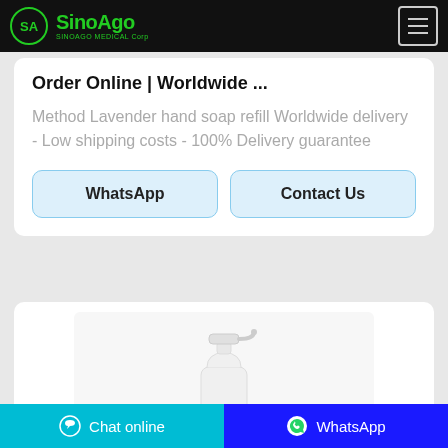SinoAgo Medical Corp
Order Online | Worldwide ...
Method Lavender hand soap refill Worldwide delivery - Low shipping costs - 100% Delivery guarantee
WhatsApp
Contact Us
[Figure (photo): Product image showing a white pump bottle dispenser on a light gray background]
Chat online | WhatsApp